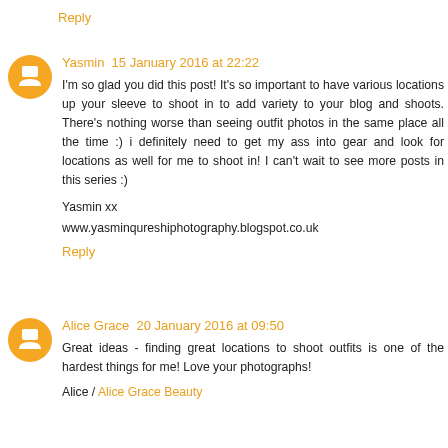Reply
Yasmin  15 January 2016 at 22:22
I'm so glad you did this post! It's so important to have various locations up your sleeve to shoot in to add variety to your blog and shoots. There's nothing worse than seeing outfit photos in the same place all the time :) i definitely need to get my ass into gear and look for locations as well for me to shoot in! I can't wait to see more posts in this series :)
Yasmin xx
www.yasminqureshiphotography.blogspot.co.uk
Reply
Alice Grace  20 January 2016 at 09:50
Great ideas - finding great locations to shoot outfits is one of the hardest things for me! Love your photographs!
Alice / Alice Grace Beauty